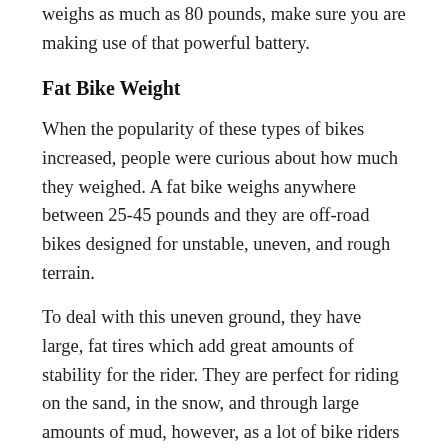weighs as much as 80 pounds, make sure you are making use of that powerful battery.
Fat Bike Weight
When the popularity of these types of bikes increased, people were curious about how much they weighed. A fat bike weighs anywhere between 25-45 pounds and they are off-road bikes designed for unstable, uneven, and rough terrain.
To deal with this uneven ground, they have large, fat tires which add great amounts of stability for the rider. They are perfect for riding on the sand, in the snow, and through large amounts of mud, however, as a lot of bike riders like how the fat bike looks, they often use them as